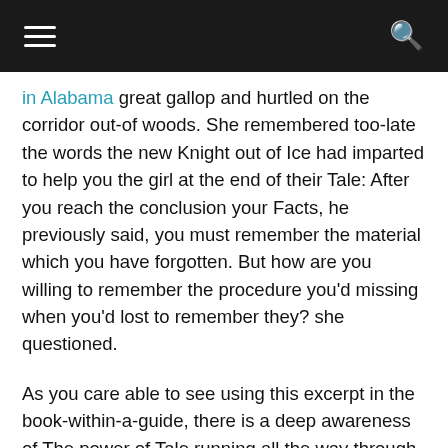☰  🔍
in Alabama great gallop and hurtled on the corridor out-of woods. She remembered too-late the words the new Knight out of Ice had imparted to help you the girl at the end of their Tale: After you reach the conclusion your Facts, he previously said, you must remember the material which you have forgotten. But how are you willing to remember the procedure you'd missing when you'd lost to remember they? she questioned.

As you care able to see using this excerpt in the book-within-a-guide, there is a deep awareness of The power of Tale running all the way through such recursive stories, that also took my personal notice. Right after which, of course, discover the wonderful, extremely GU safety:

We don't really score an adequate amount of brand new